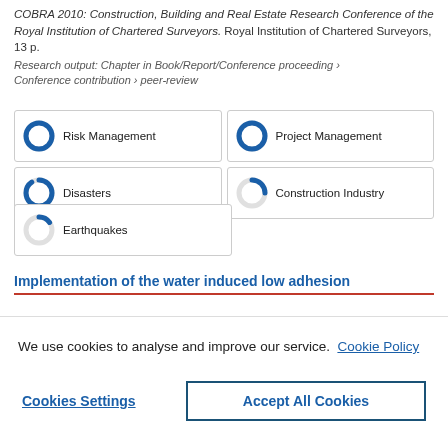COBRA 2010: Construction, Building and Real Estate Research Conference of the Royal Institution of Chartered Surveyors. Royal Institution of Chartered Surveyors, 13 p.
Research output: Chapter in Book/Report/Conference proceeding › Conference contribution › peer-review
[Figure (infographic): Five keyword badges with donut/pie completion icons: Risk Management (100%), Project Management (100%), Disasters (90%), Construction Industry (25%), Earthquakes (15%)]
Implementation of the water induced low adhesion
We use cookies to analyse and improve our service. Cookie Policy
Cookies Settings
Accept All Cookies